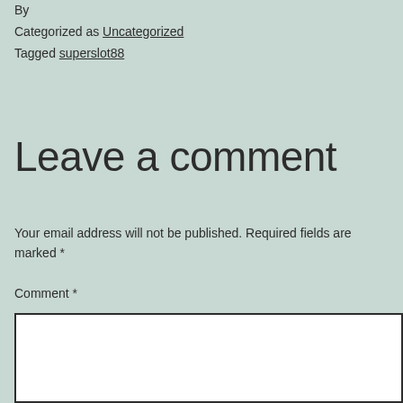By
Categorized as Uncategorized
Tagged superslot88
Leave a comment
Your email address will not be published. Required fields are marked *
Comment *